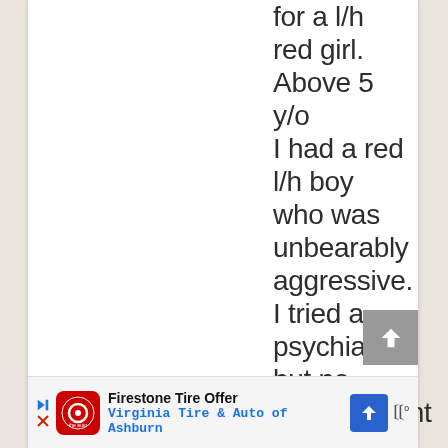for a l/h red girl. Above 5 y/o I had a red l/h boy who was unbearably aggressive. I tried a psychiatrist, but no improvement I had to
[Figure (screenshot): Advertisement bar at bottom: Firestone Tire Offer - Virginia Tire & Auto of Ashburn]